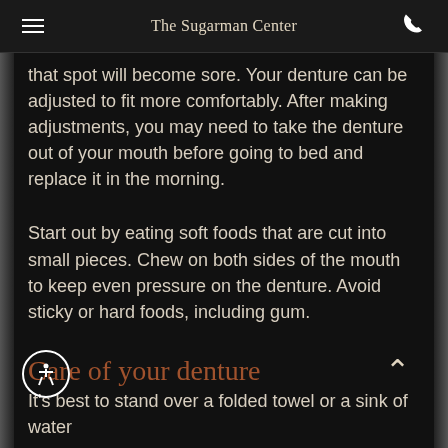The Sugarman Center
that spot will become sore. Your denture can be adjusted to fit more comfortably. After making adjustments, you may need to take the denture out of your mouth before going to bed and replace it in the morning.
Start out by eating soft foods that are cut into small pieces. Chew on both sides of the mouth to keep even pressure on the denture. Avoid sticky or hard foods, including gum.
Care of your denture
It's best to stand over a folded towel or a sink of water